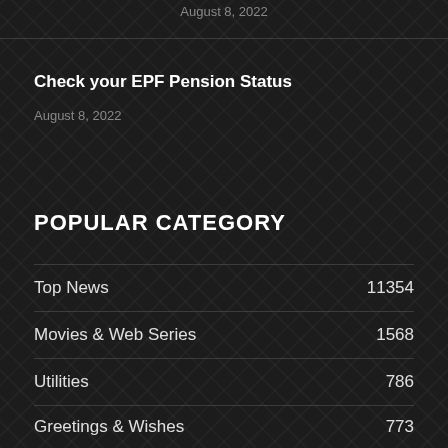August 8, 2022
Check your EPF Pension Status
August 8, 2022
POPULAR CATEGORY
Top News  11354
Movies & Web Series  1568
Utilities  786
Greetings & Wishes  773
Horoscope  733
National  274
World  274